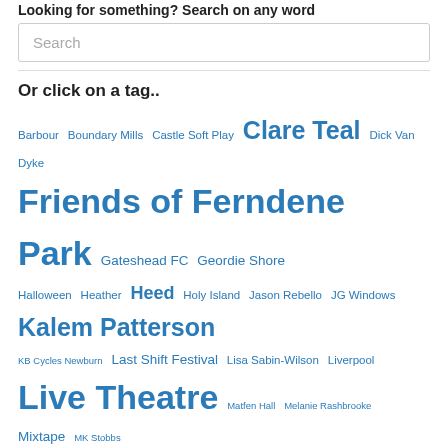Looking for something? Search on any word
Search
Or click on a tag..
Barbour Boundary Mills Castle Soft Play Clare Teal Dick Van Dyke Friends of Ferndene Park Gateshead FC Geordie Shore Halloween Heather Heed Holy Island Jason Rebello JG Windows Kalem Patterson KB Cycles Newburn Last Shift Festival Lisa Sabin-Wilson Liverpool Live Theatre Matfen Hall Melanie Rashbrooke Mixtape MK Stobbs National Glass Centre Newcastle United Northern Pride 2015 Quentin Crisp Rhyme Time Richard Reid Richmal Crompton Ryton Ryton & District Festival of Music & Drama Ryton Chimney Sweep Ryton Choral Society Ryton